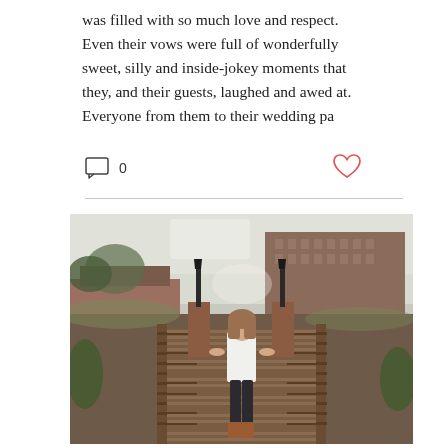was filled with so much love and respect. Even their vows were full of wonderfully sweet, silly and inside-jokey moments that they, and their guests, laughed and awed at. Everyone from them to their wedding pa
[Figure (photo): A woman in a white top and dark jeans stands confidently on a wooden bridge with decorative lamp posts, brick pillars, and a large brick building visible in the background. Taken outdoors in overcast light.]